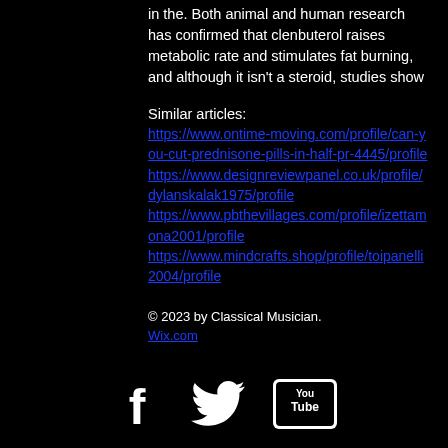in the. Both animal and human research has confirmed that clenbuterol raises metabolic rate and stimulates fat burning, and although it isn't a steroid, studies show
Similar articles:
https://www.ontime-moving.com/profile/can-you-cut-prednisone-pills-in-half-pr-4445/profile https://www.designreviewpanel.co.uk/profile/dylanskalak1975/profile https://www.pbthevillages.com/profile/izettamona2001/profile https://www.mindcrafts.shop/profile/toipanelli2004/profile
© 2023 by Classical Musician. 作成：Wix.com で作ります
[Figure (illustration): Social media icons: Facebook, Twitter, YouTube]